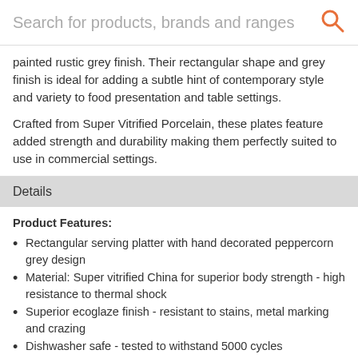Search for products, brands and ranges
painted rustic grey finish. Their rectangular shape and grey finish is ideal for adding a subtle hint of contemporary style and variety to food presentation and table settings.

Crafted from Super Vitrified Porcelain, these plates feature added strength and durability making them perfectly suited to use in commercial settings.
Details
Product Features:
Rectangular serving platter with hand decorated peppercorn grey design
Material: Super vitrified China for superior body strength - high resistance to thermal shock
Superior ecoglaze finish - resistant to stains, metal marking and crazing
Dishwasher safe - tested to withstand 5000 cycles
Fully glazed foot prevents damage when stacking
Microwave safe